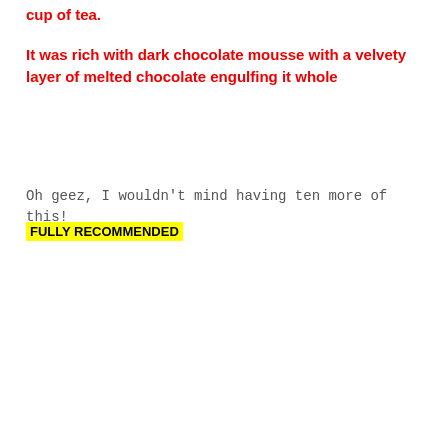cup of tea.
It was rich with dark chocolate mousse with a velvety layer of melted chocolate engulfing it whole
Oh geez, I wouldn't mind having ten more of this!
FULLY RECOMMENDED
[Figure (photo): A square brownie/chocolate bar piece topped with nuts and chocolate chips, served on a white rectangular plate.]